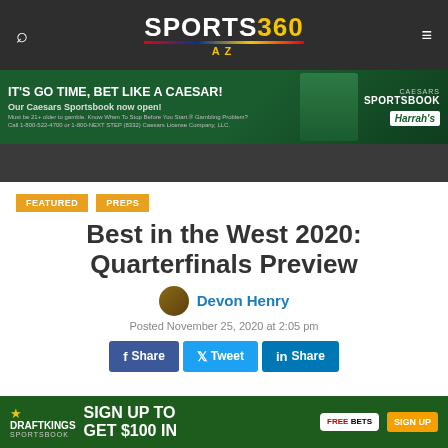SPORTS360 AZ
[Figure (photo): Caesars Sportsbook advertisement banner: 'IT'S GO TIME, BET LIKE A CAESAR! Our Caesars Sportsbook now open!' with Caesars Sportsbook and Harrah's logos]
Best in the West 2020: Quarterfinals Preview
Devon Henry
Posted November 25, 2020 at 2:05 pm
Share  Tweet  Share
[Figure (photo): DraftKings Sportsbook advertisement: 'SIGN UP TO GET $100 IN FREE BETS']